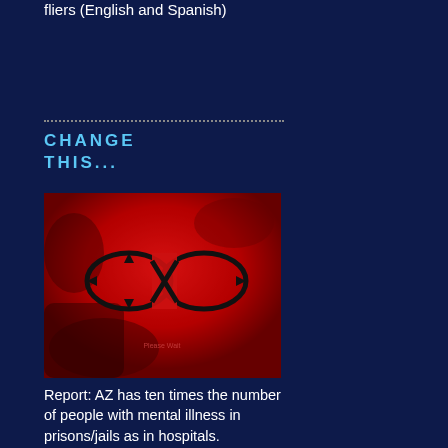fliers (English and Spanish)
CHANGE THIS...
[Figure (illustration): Red-toned abstract illustration with an infinity symbol drawn with arrows on a rough textured background. Small text at bottom reads 'Please Wait'.]
Report: AZ has ten times the number of people with mental illness in prisons/jails as in hospitals.